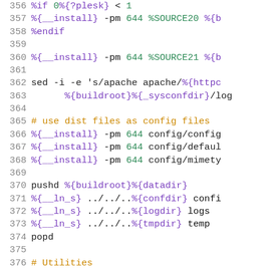[Figure (screenshot): Source code listing showing lines 356-378 of a spec file with syntax highlighting. Purple for macros like %{__install}, %{buildroot}, green for numbers like 644, orange for comments starting with #, and black for regular shell commands.]